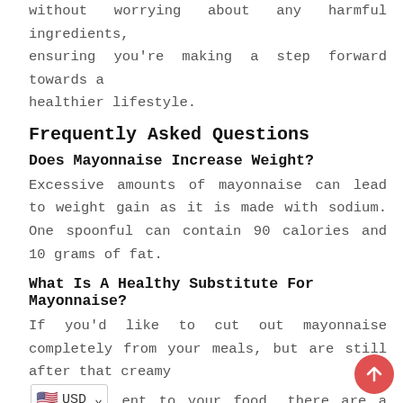without worrying about any harmful ingredients, ensuring you're making a step forward towards a healthier lifestyle.
Frequently Asked Questions
Does Mayonnaise Increase Weight?
Excessive amounts of mayonnaise can lead to weight gain as it is made with sodium. One spoonful can contain 90 calories and 10 grams of fat.
What Is A Healthy Substitute For Mayonnaise?
If you'd like to cut out mayonnaise completely from your meals, but are still after that creamy [USD] ent to your food, there are a few healthy substitutes you can turn to. Some of these include: